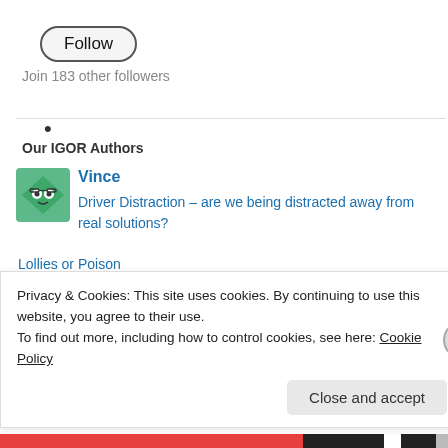Follow
Join 183 other followers
•
Our IGOR Authors
[Figure (illustration): Green diamond-shaped cartoon character avatar with glasses]
Vince
Driver Distraction – are we being distracted away from real solutions?
Lollies or Poison
[Figure (illustration): Pink round cartoon character avatar with big eyes]
fidockd
Privacy & Cookies: This site uses cookies. By continuing to use this website, you agree to their use.
To find out more, including how to control cookies, see here: Cookie Policy
Close and accept